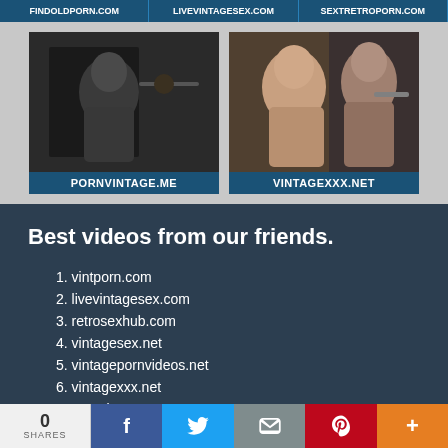FINDOLDPORN.COM  LIVEVINTAGESEX.COM  SEXTRETROPORN.COM
[Figure (photo): Two thumbnail images side by side: left shows a vintage black and white scene labeled PORNVINTAGE.ME, right shows a color vintage scene labeled VINTAGEXXX.NET]
Best videos from our friends.
1. vintporn.com
2. livevintagesex.com
3. retrosexhub.com
4. vintagesex.net
5. vintagepornvideos.net
6. vintagexxx.net
7. pornvintage.me
8. retrosexmovies.pro
0 SHARES  f  Twitter  Email  Pinterest  +